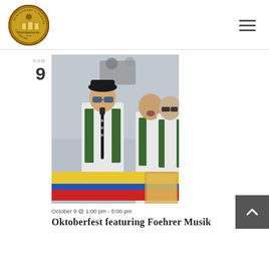[Figure (logo): Plattduetsche Park Restaurant Biergarten Catering circular logo with gold/brown coloring]
SUN
9
[Figure (photo): Musicians in traditional German/Bavarian attire (green vests, white shirts) playing instruments including clarinet, with colorful flags visible in foreground]
October 9 @ 1:00 pm - 5:00 pm
Oktoberfest featuring Foehrer Musik